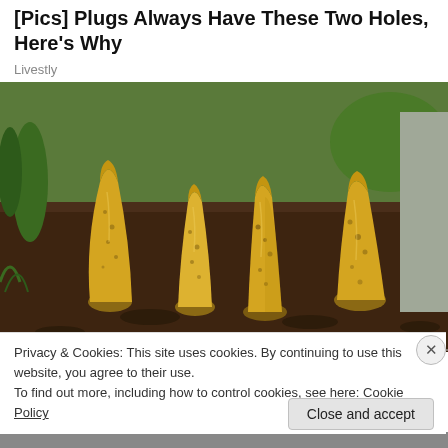[Pics] Plugs Always Have These Two Holes, Here's Why
Livestly
[Figure (photo): Photograph of several yellow fungal stalks (stinkhorn mushrooms) growing upright from dark garden soil, with green plants and a concrete wall visible in the background.]
Privacy & Cookies: This site uses cookies. By continuing to use this website, you agree to their use.
To find out more, including how to control cookies, see here: Cookie Policy
Close and accept